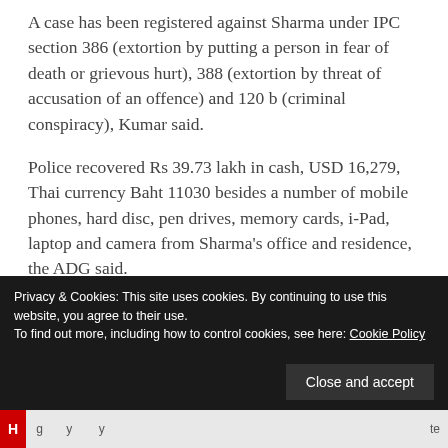A case has been registered against Sharma under IPC section 386 (extortion by putting a person in fear of death or grievous hurt), 388 (extortion by threat of accusation of an offence) and 120 b (criminal conspiracy), Kumar said.
Police recovered Rs 39.73 lakh in cash, USD 16,279, Thai currency Baht 11030 besides a number of mobile phones, hard disc, pen drives, memory cards, i-Pad, laptop and camera from Sharma's office and residence, the ADG said.
PTI
Privacy & Cookies: This site uses cookies. By continuing to use this website, you agree to their use.
To find out more, including how to control cookies, see here: Cookie Policy
Close and accept